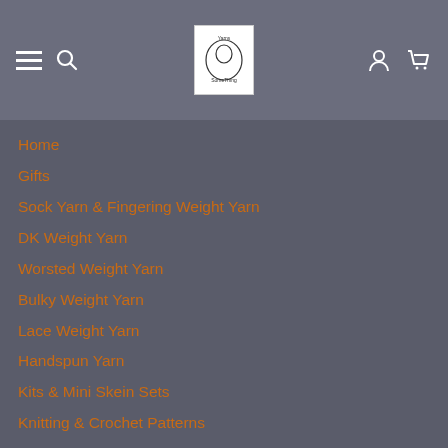Navigation header with hamburger menu, search icon, logo, user icon, and cart icon
Home
Gifts
Sock Yarn & Fingering Weight Yarn
DK Weight Yarn
Worsted Weight Yarn
Bulky Weight Yarn
Lace Weight Yarn
Handspun Yarn
Kits & Mini Skein Sets
Knitting & Crochet Patterns
Notions
Gift Cards
Joe Tillery Book
FAQ